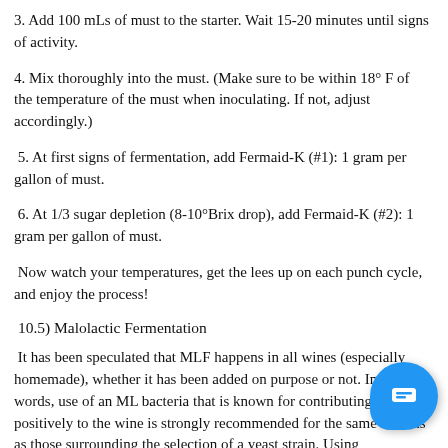3. Add 100 mLs of must to the starter. Wait 15-20 minutes until signs of activity.
4. Mix thoroughly into the must. (Make sure to be within 18° F of the temperature of the must when inoculating. If not, adjust accordingly.)
5. At first signs of fermentation, add Fermaid-K (#1): 1 gram per gallon of must.
6. At 1/3 sugar depletion (8-10°Brix drop), add Fermaid-K (#2): 1 gram per gallon of must.
Now watch your temperatures, get the lees up on each punch cycle, and enjoy the process!
10.5) Malolactic Fermentation
It has been speculated that MLF happens in all wines (especially homemade), whether it has been added on purpose or not. In other words, use of an ML bacteria that is known for contributing positively to the wine is strongly recommended for the same reasons as those surrounding the selection of a yeast strain. Using